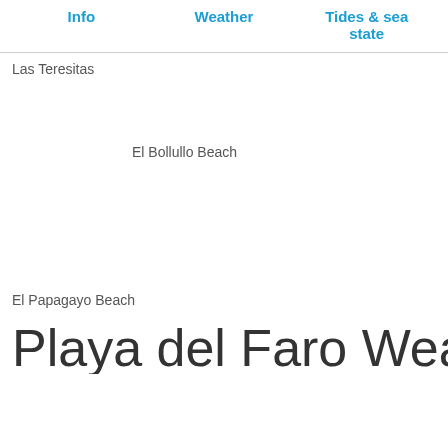Info | Weather | Tides & sea state
Las Teresitas
El Bollullo Beach
El Papagayo Beach
Playa del Faro Weather